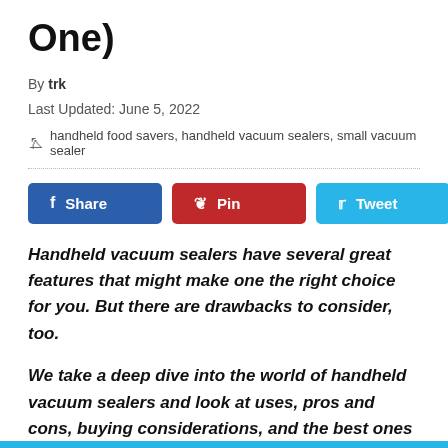One)
By trk
Last Updated: June 5, 2022
handheld food savers, handheld vacuum sealers, small vacuum sealer
Share | Pin | Tweet
Handheld vacuum sealers have several great features that might make one the right choice for you. But there are drawbacks to consider, too.

We take a deep dive into the world of handheld vacuum sealers and look at uses, pros and cons, buying considerations, and the best ones to buy.